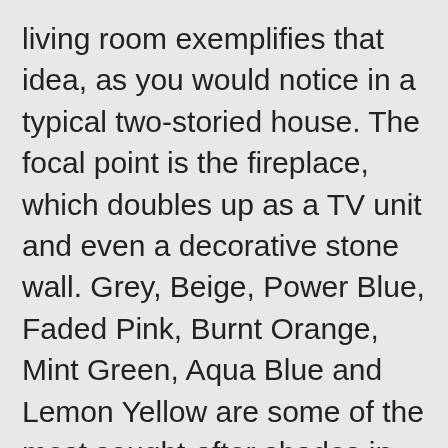living room exemplifies that idea, as you would notice in a typical two-storied house. The focal point is the fireplace, which doubles up as a TV unit and even a decorative stone wall. Grey, Beige, Power Blue, Faded Pink, Burnt Orange, Mint Green, Aqua Blue and Lemon Yellow are some of the most sought-after shades in modern homes. Set Descending Direction. Sofa with 2 end tables facing 2 armchairs on an area rug, 3. Spend small and achieve big when it comes to decorating your living room. Create a center Whether it's a coffee table, ottoman or group of chairs, it's important that your living room has a noticeable center. I think it looks better too. The sectional has one end table on one side and there's a coffee table in the center. By Elizabeth Krueger design encourage conversation, instead furniture design for